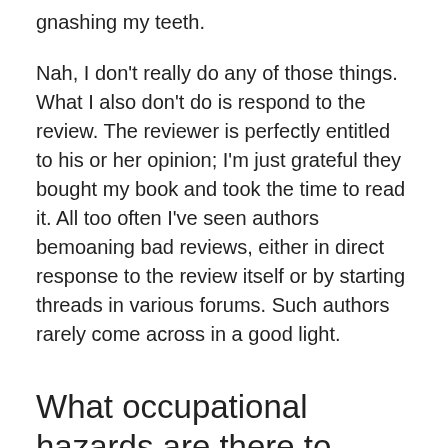gnashing my teeth.
Nah, I don't really do any of those things. What I also don't do is respond to the review. The reviewer is perfectly entitled to his or her opinion; I'm just grateful they bought my book and took the time to read it. All too often I've seen authors bemoaning bad reviews, either in direct response to the review itself or by starting threads in various forums. Such authors rarely come across in a good light.
What occupational hazards are there to being a novelist?
I think the obvious one is becoming unfit (or, in my case, more unfit) by spending so long sitting down. To try to